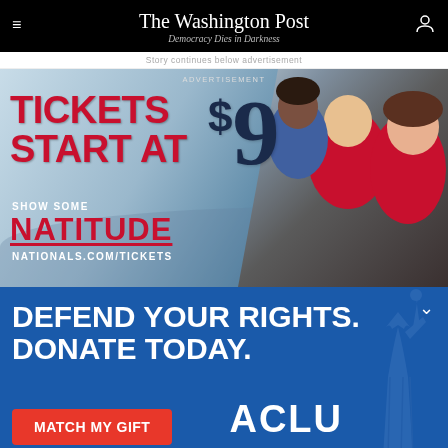The Washington Post
Democracy Dies in Darkness
Story continues below advertisement
[Figure (photo): Washington Nationals advertisement: TICKETS START AT $9 - SHOW SOME NATITUDE - NATIONALS.COM/TICKETS with fans cheering in red Nationals gear]
[Figure (infographic): ACLU advertisement: DEFEND YOUR RIGHTS. DONATE TODAY. MATCH MY GIFT button with Statue of Liberty graphic and ACLU logo]